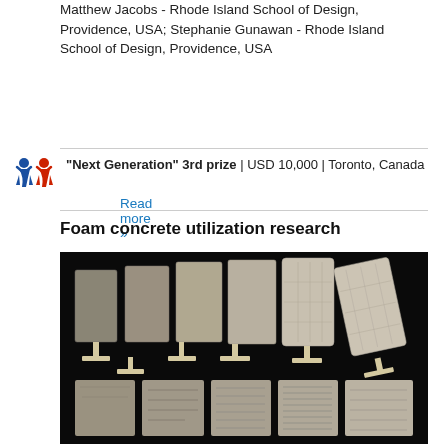Matthew Jacobs - Rhode Island School of Design, Providence, USA; Stephanie Gunawan - Rhode Island School of Design, Providence, USA
Read more »
"Next Generation" 3rd prize | USD 10,000 | Toronto, Canada
Foam concrete utilization research
[Figure (photo): Photograph showing a series of foam concrete panels on stands, arranged in a row. Top half shows panels standing upright on wooden/metal T-shaped stands, progressing from flat to increasingly textured surfaces. Bottom half shows the same panels laid flat or viewed from the front, revealing various surface textures and patterns on the concrete slabs.]